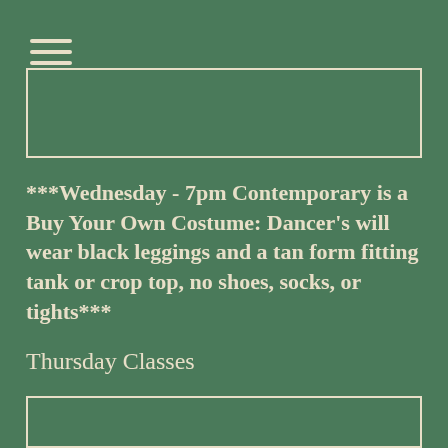[Figure (other): Hamburger menu icon with three horizontal lines]
[Figure (other): Rectangular bordered box, partially visible at top]
***Wednesday - 7pm Contemporary is a Buy Your Own Costume: Dancer's will wear black leggings and a tan form fitting tank or crop top, no shoes, socks, or tights***
Thursday Classes
[Figure (other): Rectangular bordered box, partially visible at bottom]